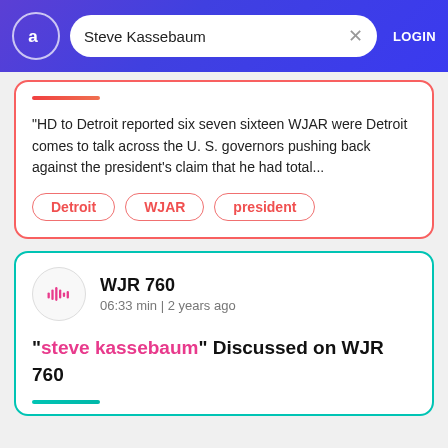Steve Kassebaum | LOGIN
"HD to Detroit reported six seven sixteen WJAR were Detroit comes to talk across the U. S. governors pushing back against the president's claim that he had total...
Detroit
WJAR
president
WJR 760
06:33 min | 2 years ago
"steve kassebaum" Discussed on WJR 760